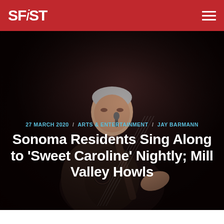SFiST
[Figure (photo): Black and white concert photo of a male performer singing into a microphone while playing an acoustic guitar, wearing a dark jacket, against a dark background]
27 MARCH 2020 / ARTS & ENTERTAINMENT / JAY BARMANN
Sonoma Residents Sing Along to 'Sweet Caroline' Nightly; Mill Valley Howls